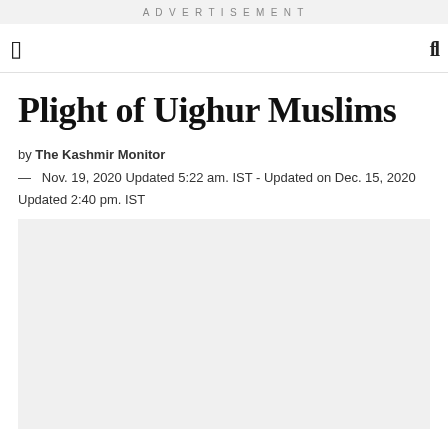ADVERTISEMENT
Plight of Uighur Muslims
by The Kashmir Monitor
— Nov. 19, 2020 Updated 5:22 am. IST - Updated on Dec. 15, 2020 Updated 2:40 pm. IST
[Figure (photo): Gray placeholder image area below the article header]